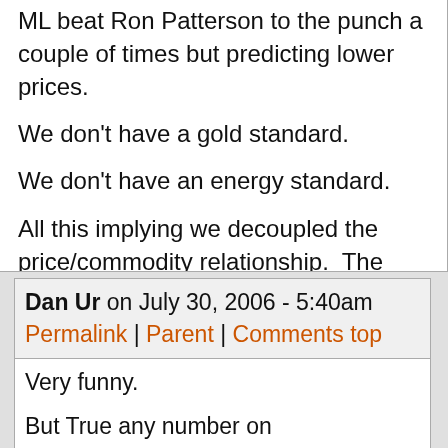ML beat Ron Patterson to the punch a couple of times but predicting lower prices.

We don't have a gold standard.

We don't have an energy standard.

All this implying we decoupled the price/commodity relationship.  The govt/market can say whatever or set whatever prices they want.
Dan Ur on July 30, 2006 - 5:40am Permalink | Parent | Comments top
Very funny.

But True any number on